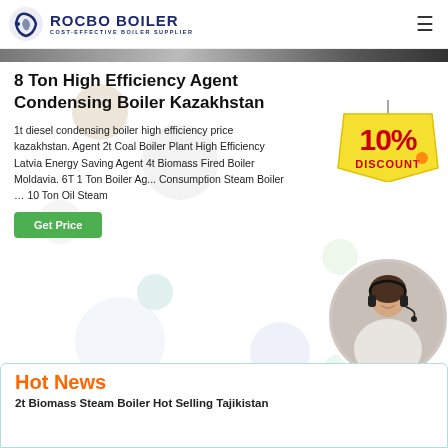ROCBO BOILER — COST-EFFECTIVE BOILER SUPPLIER
8 Ton High Efficiency Agent Condensing Boiler Kazakhstan
1t diesel condensing boiler high efficiency price kazakhstan. Agent 2t Coal Boiler Plant High Efficiency Latvia Energy Saving Agent 4t Biomass Fired Boiler Moldavia. 6T 1 Ton Boiler Agent Consumption Steam Boiler … 10 Ton Oil Steam
[Figure (infographic): 10% DISCOUNT badge in red text on yellow background]
[Figure (photo): Customer service agent woman with headset smiling, circular photo]
Hot News
2t Biomass Steam Boiler Hot Selling Tajikistan